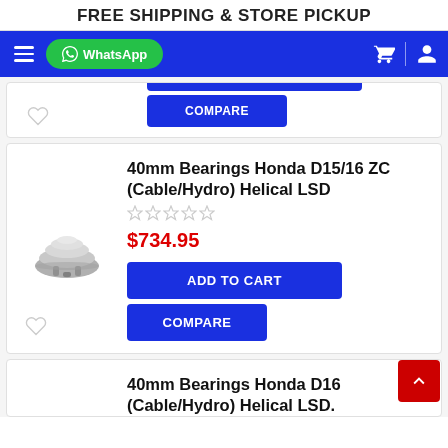FREE SHIPPING & STORE PICKUP
[Figure (screenshot): Navigation bar with hamburger menu, WhatsApp button, cart icon, and user icon on blue background]
ADD TO CART
COMPARE
40mm Bearings Honda D15/16 ZC (Cable/Hydro) Helical LSD
$734.95
ADD TO CART
COMPARE
40mm Bearings Honda D16 (Cable/Hydro) Helical LSD.